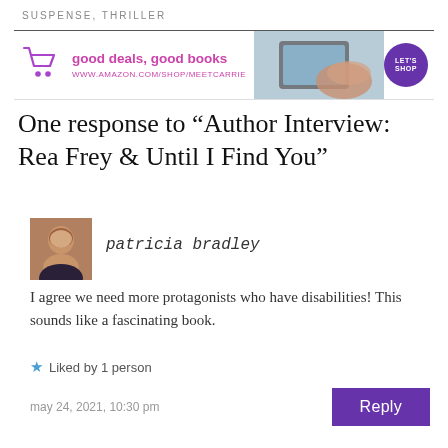SUSPENSE, THRILLER
[Figure (infographic): Banner advertisement: purple shopping cart icon, text 'good deals, good books' and 'www.amazon.com/shop/meetcarrie' in pink/magenta, photo of hands holding a tablet, and a purple circular 'LET'S SHOP' button.]
One response to “Author Interview: Rea Frey & Until I Find You”
[Figure (photo): Avatar/profile photo of patricia bradley, a woman with short curly hair.]
patricia bradley
I agree we need more protagonists who have disabilities! This sounds like a fascinating book.
★ Liked by 1 person
may 24, 2021, 10:30 pm